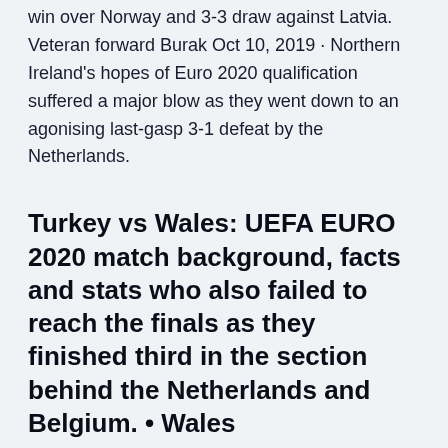win over Norway and 3-3 draw against Latvia. Veteran forward Burak Oct 10, 2019 · Northern Ireland's hopes of Euro 2020 qualification suffered a major blow as they went down to an agonising last-gasp 3-1 defeat by the Netherlands.
Turkey vs Wales: UEFA EURO 2020 match background, facts and stats who also failed to reach the finals as they finished third in the section behind the Netherlands and Belgium. • Wales
Wednesday \ 17:00 Olympic Stadium, Baku . Sign up NOW. Get access to exclusive pre-sale tickets and we'll